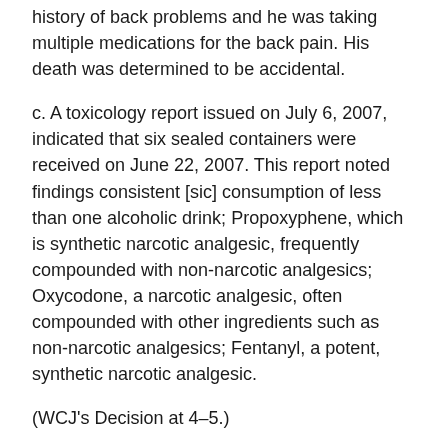history of back problems and he was taking multiple medications for the back pain. His death was determined to be accidental.
c. A toxicology report issued on July 6, 2007, indicated that six sealed containers were received on June 22, 2007. This report noted findings consistent [sic] consumption of less than one alcoholic drink; Propoxyphene, which is synthetic narcotic analgesic, frequently compounded with non-narcotic analgesics; Oxycodone, a narcotic analgesic, often compounded with other ingredients such as non-narcotic analgesics; Fentanyl, a potent, synthetic narcotic analgesic.
(WCJ's Decision at 4–5.)
Also attached to the joint stipulation of facts was a report by Ian C. Hood, MB, ChB, forensic pathologist. (R.R at 134a–35a.) The WCJ summarized Dr. Hood's report, in part, as follows: